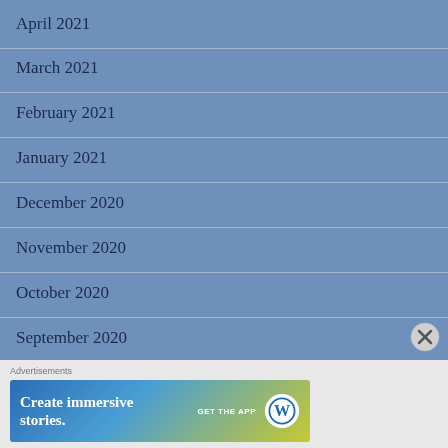April 2021
March 2021
February 2021
January 2021
December 2020
November 2020
October 2020
September 2020
Advertisements
[Figure (other): WordPress app advertisement banner reading 'Create immersive stories. GET THE APP' with WordPress logo]